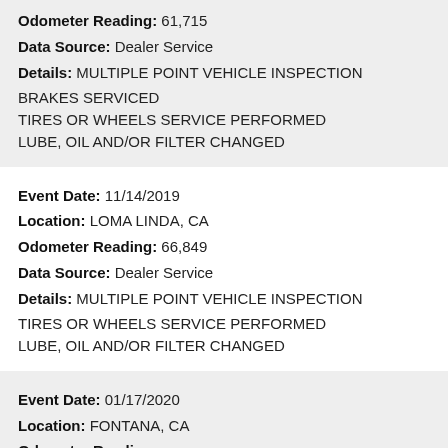Odometer Reading: 61,715
Data Source: Dealer Service
Details: MULTIPLE POINT VEHICLE INSPECTION
BRAKES SERVICED
TIRES OR WHEELS SERVICE PERFORMED
LUBE, OIL AND/OR FILTER CHANGED
Event Date: 11/14/2019
Location: LOMA LINDA, CA
Odometer Reading: 66,849
Data Source: Dealer Service
Details: MULTIPLE POINT VEHICLE INSPECTION
TIRES OR WHEELS SERVICE PERFORMED
LUBE, OIL AND/OR FILTER CHANGED
Event Date: 01/17/2020
Location: FONTANA, CA
Odometer Reading:
Data Source: Motor Vehicle Dept.
Details: TITLE(Lien Reported)